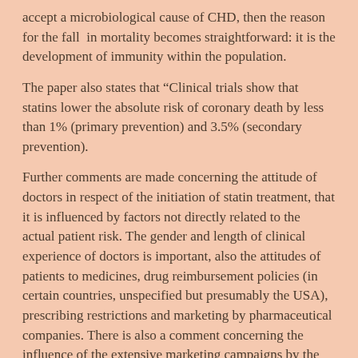accept a microbiological cause of CHD, then the reason for the fall in mortality becomes straightforward: it is the development of immunity within the population.
The paper also states that “Clinical trials show that statins lower the absolute risk of coronary death by less than 1% (primary prevention) and 3.5% (secondary prevention).
Further comments are made concerning the attitude of doctors in respect of the initiation of statin treatment, that it is influenced by factors not directly related to the actual patient risk. The gender and length of clinical experience of doctors is important, also the attitudes of patients to medicines, drug reimbursement policies (in certain countries, unspecified but presumably the USA), prescribing restrictions and marketing by pharmaceutical companies. There is also a comment concerning the influence of the extensive marketing campaigns by the pharmaceutical industries on the decision of doctors concerning statin treatment.
The paper finishes: